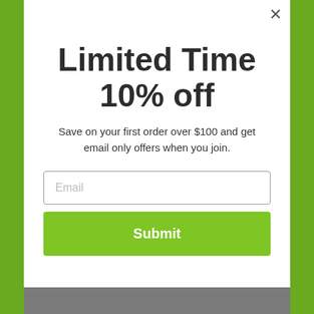Limited Time 10% off
Save on your first order over $100 and get email only offers when you join.
[Figure (screenshot): Email input field with placeholder text 'Email']
[Figure (screenshot): Green Submit button]